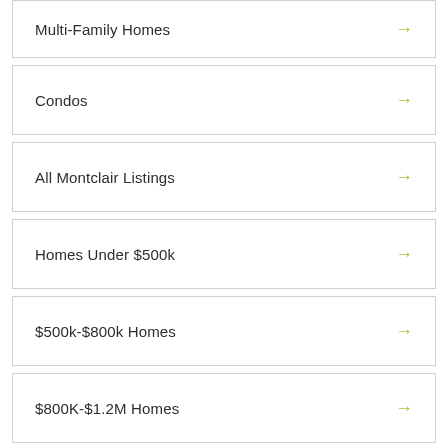Multi-Family Homes
Condos
All Montclair Listings
Homes Under $500k
$500k-$800k Homes
$800K-$1.2M Homes
Luxury Homes